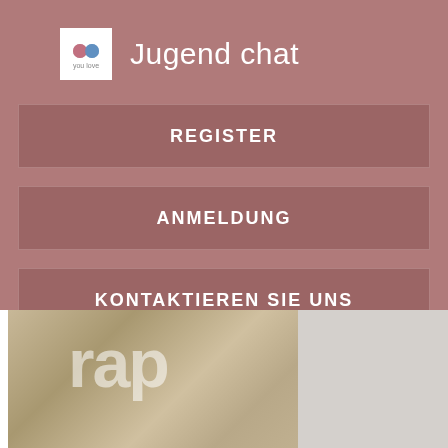Jugend chat
REGISTER
ANMELDUNG
KONTAKTIEREN SIE UNS
[Figure (screenshot): Background image partially visible at the bottom showing blurred text 'rap' on a warm beige/tan background, split with a light gray panel on the right]